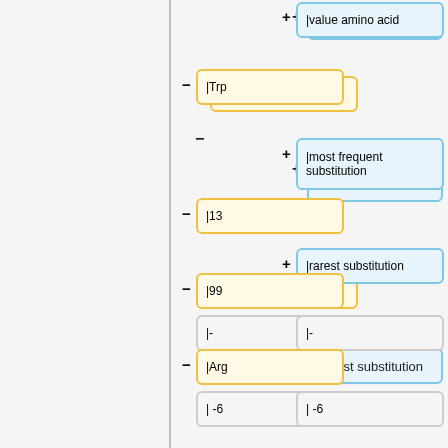[Figure (flowchart): A tree/flowchart diagram showing nested data structure nodes. Left column shows yellow boxes with minus signs: |Trp, |13, |99, |Arg, |0. Right column shows blue boxes with plus signs: |value amino acid, |most frequent substitution, |rarest substitution, | 13, | -7. Gray boxes with |-, |}, | -6, | -6 etc. appear as leaf nodes. A vertical gray line separates the two columns.]